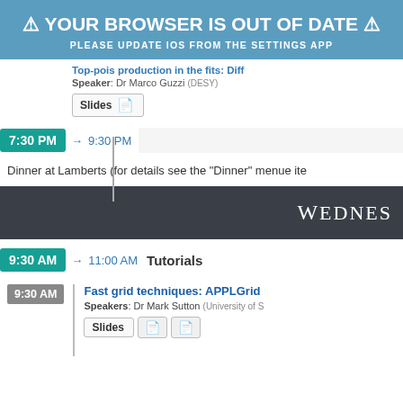⚠ YOUR BROWSER IS OUT OF DATE ⚠
PLEASE UPDATE IOS FROM THE SETTINGS APP
Top-pois production in the fits: Diff...
Speaker: Dr Marco Guzzi (DESY)
Slides
7:30 PM → 9:30 PM
Dinner at Lamberts (for details see the "Dinner" menue ite
Wednesday
9:30 AM → 11:00 AM  Tutorials
9:30 AM  Fast grid techniques: APPLGrid
Speakers: Dr Mark Sutton (University of S
Slides